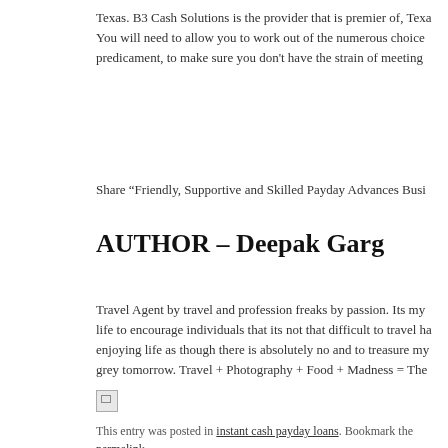Texas. B3 Cash Solutions is the provider that is premier of, Texa... You will need to allow you to work out of the numerous choice... predicament, to make sure you don't have the strain of meeting...
Share “Friendly, Supportive and Skilled Payday Advances Busi...
AUTHOR – Deepak Garg
Travel Agent by travel and profession freaks by passion. Its my life to encourage individuals that its not that difficult to travel ha... enjoying life as though there is absolutely no and to treasure my grey tomorrow. Travel + Photography + Food + Madness = The
[Figure (illustration): Broken image placeholder icon]
This entry was posted in instant cash payday loans. Bookmark the permalink